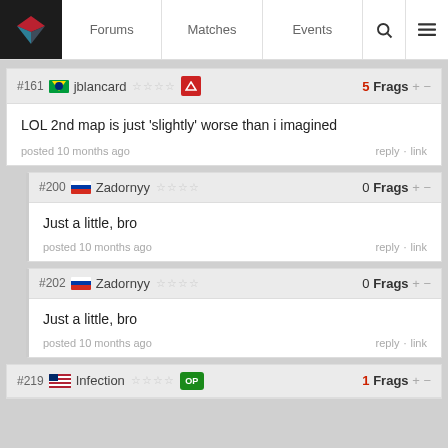Forums  Matches  Events
#161 jblancard — 5 Frags + -
LOL 2nd map is just 'slightly' worse than i imagined
posted 10 months ago  reply · link
#200 Zadornyy — 0 Frags + -
Just a little, bro
posted 10 months ago  reply · link
#202 Zadornyy — 0 Frags + -
Just a little, bro
posted 10 months ago  reply · link
#219 Infection — 1 Frags + -